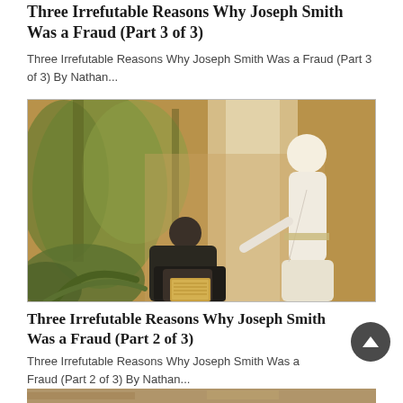Three Irrefutable Reasons Why Joseph Smith Was a Fraud (Part 3 of 3)
Three Irrefutable Reasons Why Joseph Smith Was a Fraud (Part 3 of 3) By Nathan...
[Figure (illustration): A painting depicting a kneeling man in dark robes holding golden plates, with a glowing angelic figure in white standing before him in a forest setting.]
Three Irrefutable Reasons Why Joseph Smith Was a Fraud (Part 2 of 3)
Three Irrefutable Reasons Why Joseph Smith Was a Fraud (Part 2 of 3) By Nathan...
[Figure (photo): Partial view of another article image (cropped at bottom of page).]